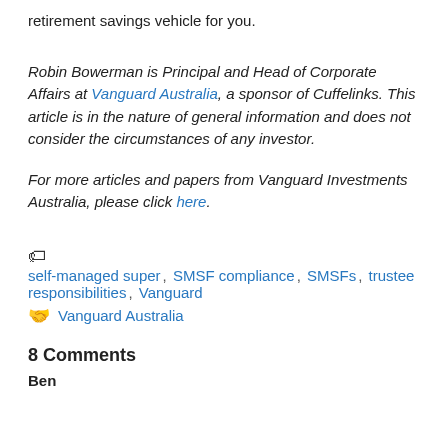retirement savings vehicle for you.
Robin Bowerman is Principal and Head of Corporate Affairs at Vanguard Australia, a sponsor of Cuffelinks. This article is in the nature of general information and does not consider the circumstances of any investor.
For more articles and papers from Vanguard Investments Australia, please click here.
self-managed super, SMSF compliance, SMSFs, trustee responsibilities, Vanguard
Vanguard Australia
8 Comments
Ben